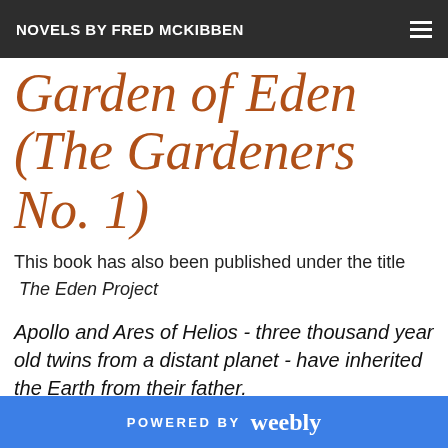NOVELS BY FRED MCKIBBEN
Garden of Eden (The Gardeners No. 1)
This book has also been published under the title The Eden Project
Apollo and Ares of Helios - three thousand year old twins from a distant planet - have inherited the Earth from their father.
POWERED BY weebly